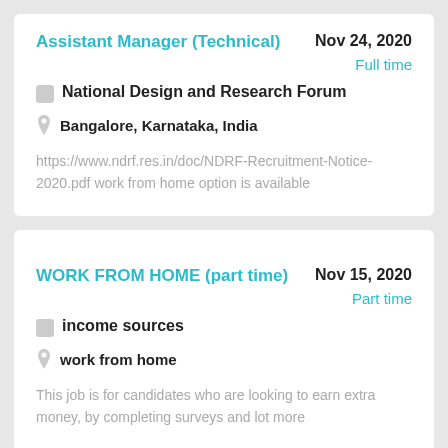Assistant Manager (Technical)
Nov 24, 2020
Full time
National Design and Research Forum
Bangalore, Karnataka, India
https://www.ndrf.res.in/doc/NDRF-Recruitment-Notice-2020.pdf work from home option is available
WORK FROM HOME (part time)
Nov 15, 2020
Part time
income sources
work from home
This job is for candidates who are looking to earn extra money, by completing surveys and lot more